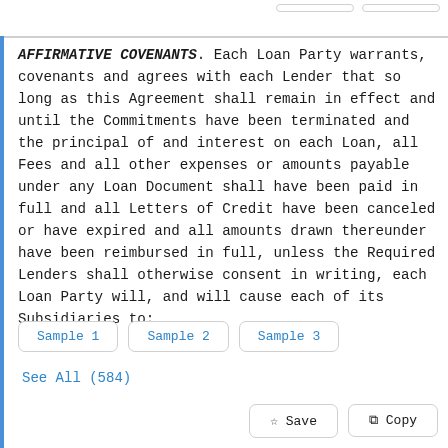AFFIRMATIVE COVENANTS. Each Loan Party warrants, covenants and agrees with each Lender that so long as this Agreement shall remain in effect and until the Commitments have been terminated and the principal of and interest on each Loan, all Fees and all other expenses or amounts payable under any Loan Document shall have been paid in full and all Letters of Credit have been canceled or have expired and all amounts drawn thereunder have been reimbursed in full, unless the Required Lenders shall otherwise consent in writing, each Loan Party will, and will cause each of its Subsidiaries to:
Sample 1
Sample 2
Sample 3
See All (584)